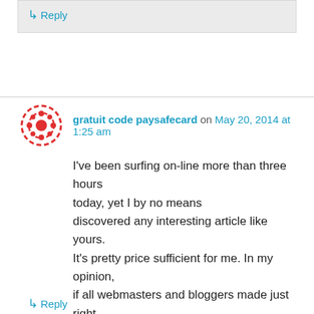↳ Reply
gratuit code paysafecard on May 20, 2014 at 1:25 am
I've been surfing on-line more than three hours today, yet I by no means discovered any interesting article like yours. It's pretty price sufficient for me. In my opinion, if all webmasters and bloggers made just right content as you probably did, the net will likely be a lot more helpful than ever before.
★ Like
↳ Reply